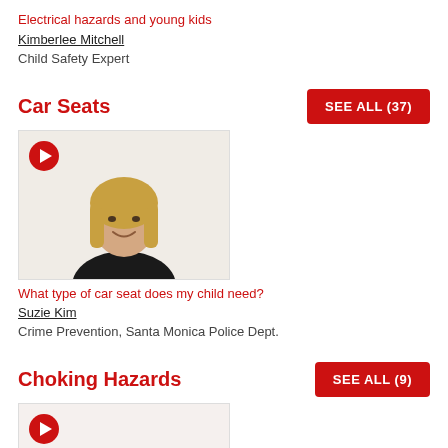Electrical hazards and young kids
Kimberlee Mitchell
Child Safety Expert
Car Seats
SEE ALL (37)
[Figure (photo): Woman with blonde hair smiling, video thumbnail with red play button]
What type of car seat does my child need?
Suzie Kim
Crime Prevention, Santa Monica Police Dept.
Choking Hazards
SEE ALL (9)
[Figure (photo): Woman with dark hair smiling, video thumbnail with red play button]